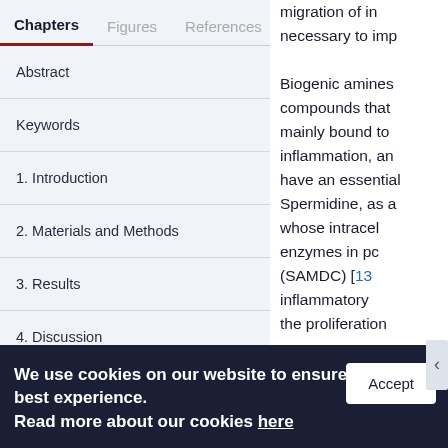Chapters | Figures | References
Abstract
Keywords
1. Introduction
2. Materials and Methods
3. Results
4. Discussion
5. Conclusions
migration of in... necessary to imp... Biogenic amines compounds that mainly bound to inflammation, an have an essential Spermidine, as a whose intracel enzymes in pc (SAMDC) [13 inflammatory the proliferation
We use cookies on our website to ensure you best experience. Read more about our cookies here